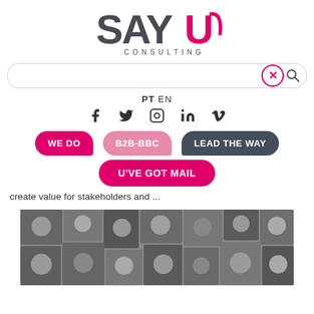[Figure (logo): SAYU Consulting logo — bold dark grey letters SAY with a pink U, CONSULTING in small caps below]
[Figure (screenshot): Search bar with pink circle X button and magnifying glass icon on the right]
PT EN
[Figure (infographic): Social media icons: Facebook, Twitter, Instagram, LinkedIn, Vimeo]
WE DO
B2B-BBC
LEAD THE WAY
U'VE GOT MAIL
create value for stakeholders and ...
[Figure (photo): Black and white photo collage of comic/cartoon-style drawings and illustrated faces filling a wall]